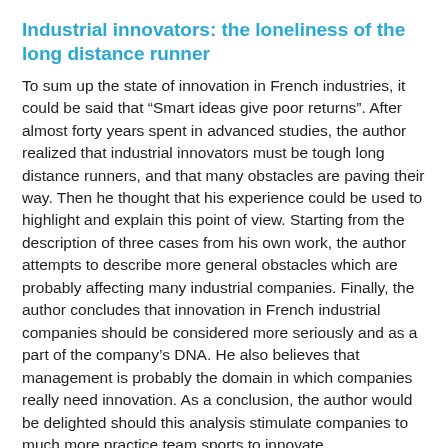Industrial innovators: the loneliness of the long distance runner
To sum up the state of innovation in French industries, it could be said that “Smart ideas give poor returns”. After almost forty years spent in advanced studies, the author realized that industrial innovators must be tough long distance runners, and that many obstacles are paving their way. Then he thought that his experience could be used to highlight and explain this point of view. Starting from the description of three cases from his own work, the author attempts to describe more general obstacles which are probably affecting many industrial companies. Finally, the author concludes that innovation in French industrial companies should be considered more seriously and as a part of the company’s DNA. He also believes that management is probably the domain in which companies really need innovation. As a conclusion, the author would be delighted should this analysis stimulate companies to much more practice team sports to innovate.
The inventor, the innovator and the engineer